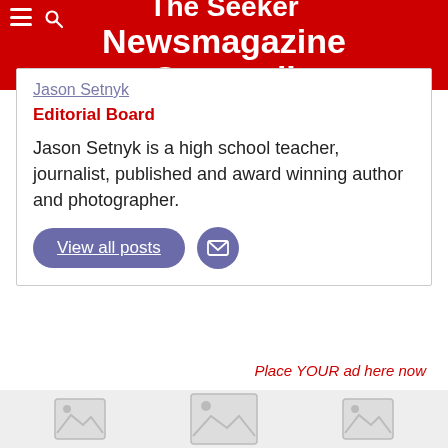The Seeker Newsmagazine Cornwall
Jason Setnyk
Editorial Board
Jason Setnyk is a high school teacher, journalist, published and award winning author and photographer.
View all posts
Place YOUR ad here now
[Figure (photo): Three image placeholder thumbnails in a grey bar at the bottom of the page]